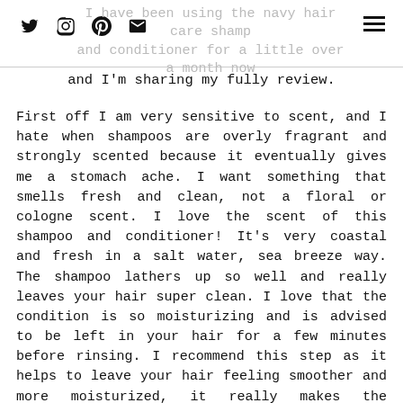I have been using the navy hair care shampoo and conditioner for a little over a month now
and I'm sharing my fully review.
First off I am very sensitive to scent, and I hate when shampoos are overly fragrant and strongly scented because it eventually gives me a stomach ache. I want something that smells fresh and clean, not a floral or cologne scent. I love the scent of this shampoo and conditioner! It's very coastal and fresh in a salt water, sea breeze way. The shampoo lathers up so well and really leaves your hair super clean. I love that the condition is so moisturizing and is advised to be left in your hair for a few minutes before rinsing. I recommend this step as it helps to leave your hair feeling smoother and more moisturized, it really makes the difference.